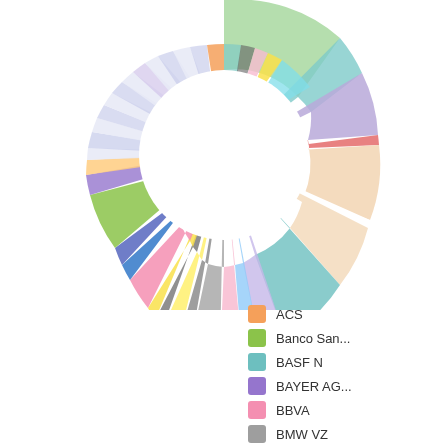[Figure (donut-chart): Portfolio Composition]
ACS
Banco San...
BASF N
BAYER AG...
BBVA
BMW VZ